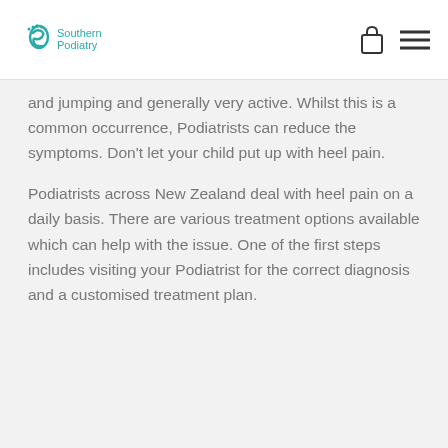Southern Podiatry
and jumping and generally very active. Whilst this is a common occurrence, Podiatrists can reduce the symptoms. Don't let your child put up with heel pain.
Podiatrists across New Zealand deal with heel pain on a daily basis. There are various treatment options available which can help with the issue. One of the first steps includes visiting your Podiatrist for the correct diagnosis and a customised treatment plan.